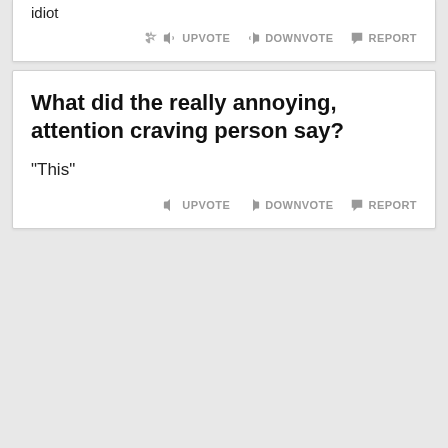idiot
UPVOTE   DOWNVOTE   REPORT
What did the really annoying, attention craving person say?
"This"
UPVOTE   DOWNVOTE   REPORT